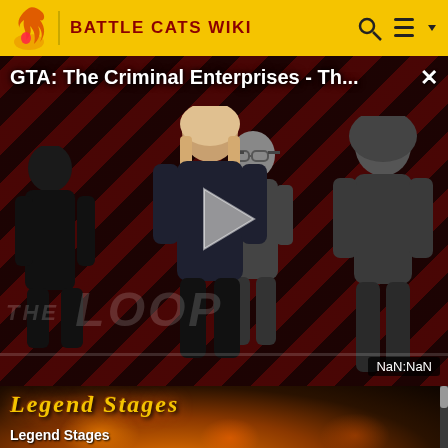BATTLE CATS WIKI
[Figure (screenshot): Video advertisement overlay showing 'GTA: The Criminal Enterprises - Th...' with a play button, diagonal red/dark stripe background, multiple character silhouettes, THE LOOP watermark, and NaN:NaN timer]
[Figure (screenshot): Legend Stages thumbnail and label at the bottom of the page showing a fiery orange/gold background with 'Legend Stages' text in stylized yellow font]